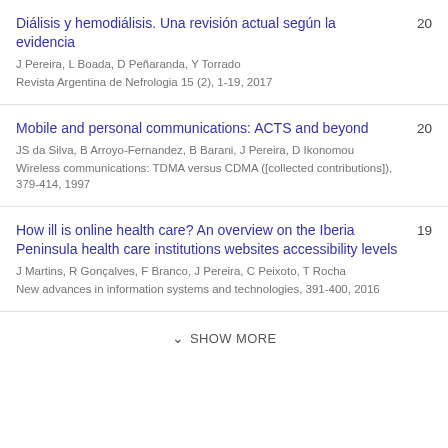Diálisis y hemodiálisis. Una revisión actual según la evidencia | J Pereira, L Boada, D Peñaranda, Y Torrado | Revista Argentina de Nefrologia 15 (2), 1-19, 2017 | 20
Mobile and personal communications: ACTS and beyond | JS da Silva, B Arroyo-Fernandez, B Barani, J Pereira, D Ikonomou | Wireless communications: TDMA versus CDMA ([collected contributions]), 379-414, 1997 | 20
How ill is online health care? An overview on the Iberia Peninsula health care institutions websites accessibility levels | J Martins, R Gonçalves, F Branco, J Pereira, C Peixoto, T Rocha | New advances in information systems and technologies, 391-400, 2016 | 19
SHOW MORE